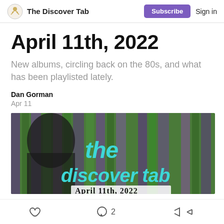The Discover Tab | Subscribe | Sign in
April 11th, 2022
New albums, circling back on the 80s, and what has been playlisted lately.
Dan Gorman
Apr 11
[Figure (photo): Header image for The Discover Tab newsletter dated April 11th, 2022. Shows colorful striped background (green, purple) with a dark silhouette on the left and cyan/turquoise stylized text reading 'the discover tab' and below that partially visible text 'April 11th, 2022'.]
Like | Comment 2 | Share